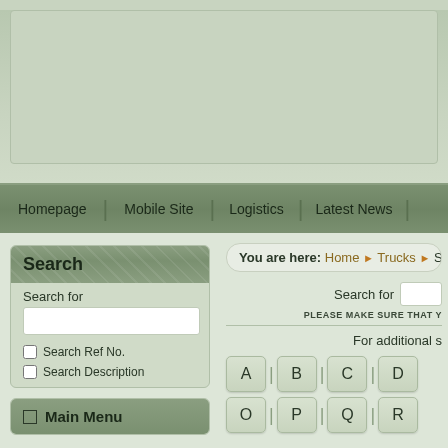[Figure (screenshot): Green-tinted website header banner area with light sage green background and subtle texture]
Homepage | Mobile Site | Logistics | Latest News
You are here: Home ▶ Trucks ▶ Sho
Search
Search for
Search Ref No.
Search Description
Search for
PLEASE MAKE SURE THAT Y
For additional s
A | B | C | D
O | P | Q | R
□ Main Menu